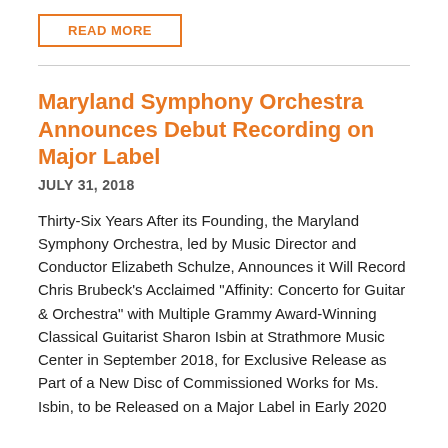READ MORE
Maryland Symphony Orchestra Announces Debut Recording on Major Label
JULY 31, 2018
Thirty-Six Years After its Founding, the Maryland Symphony Orchestra, led by Music Director and Conductor Elizabeth Schulze, Announces it Will Record Chris Brubeck’s Acclaimed “Affinity: Concerto for Guitar & Orchestra” with Multiple Grammy Award-Winning Classical Guitarist Sharon Isbin at Strathmore Music Center in September 2018, for Exclusive Release as Part of a New Disc of Commissioned Works for Ms. Isbin, to be Released on a Major Label in Early 2020
READ MORE